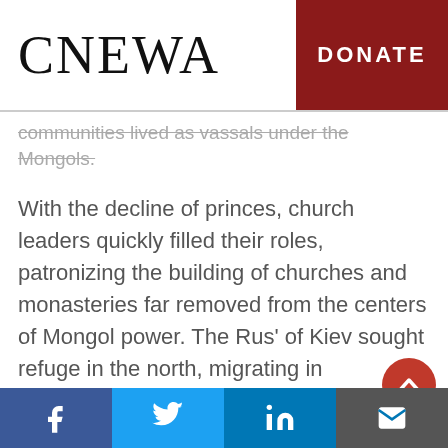CNEWA | DONATE
communities lived as vassals under the Mongols.
With the decline of princes, church leaders quickly filled their roles, patronizing the building of churches and monasteries far removed from the centers of Mongol power. The Rus' of Kiev sought refuge in the north, migrating in succession to Rostov, Suzdal and, finally, Vladimir. The effective leader of all the Rus', the metropolitan archbishop of Kiev, left the devastated city for Vladimir in 1300. Eventually,
Facebook | Twitter | LinkedIn | Email